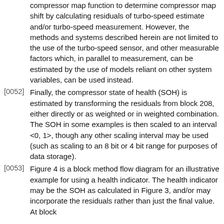compressor map function to determine compressor map shift by calculating residuals of turbo-speed estimate and/or turbo-speed measurement. However, the methods and systems described herein are not limited to the use of the turbo-speed sensor, and other measurable factors which, in parallel to measurement, can be estimated by the use of models reliant on other system variables, can be used instead.
[0052] Finally, the compressor state of health (SOH) is estimated by transforming the residuals from block 208, either directly or as weighted or in weighted combination. The SOH in some examples is then scaled to an interval <0, 1>, though any other scaling interval may be used (such as scaling to an 8 bit or 4 bit range for purposes of data storage).
[0053] Figure 4 is a block method flow diagram for an illustrative example for using a health indicator. The health indicator may be the SOH as calculated in Figure 3, and/or may incorporate the residuals rather than just the final value. At block